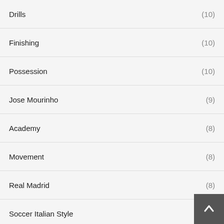Drills (10)
Finishing (10)
Possession (10)
Jose Mourinho (9)
Academy (8)
Movement (8)
Real Madrid (8)
Soccer Italian Style (7)
Develop (7)
Coordination (6)
Real Madrid Tactical Game Situation (6)
Technical (6)